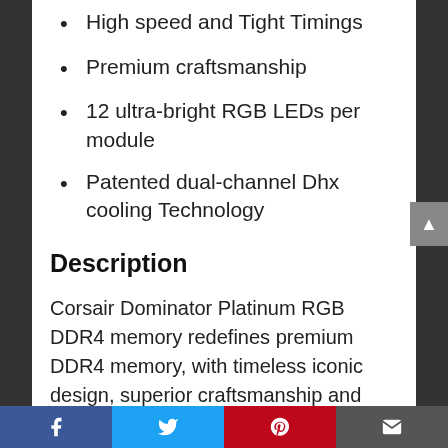High speed and Tight Timings
Premium craftsmanship
12 ultra-bright RGB LEDs per module
Patented dual-channel Dhx cooling Technology
Description
Corsair Dominator Platinum RGB DDR4 memory redefines premium DDR4 memory, with timeless iconic design, superior craftsmanship and aluminum construction that will help to...